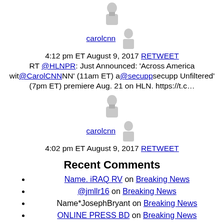carolcnn 4:12 pm ET August 9, 2017 RETWEET RT @HLNPR: Just Announced: 'Across America wit@CarolCNNNN' (11am ET) a@secuppsecupp Unfiltered' (7pm ET) premiere Aug. 21 on HLN. https://t.c…
carolcnn 4:02 pm ET August 9, 2017 RETWEET
Recent Comments
Name. iRAQ RV on Breaking News
@jmllr16 on Breaking News
Name*JosephBryant on Breaking News
ONLINE PRESS BD on Breaking News
margaretrosemaryrohr on 'Blade runner' Pistorius weeps as he's charged in girlfriend's death
Top Topics
World
U.S.
Crime